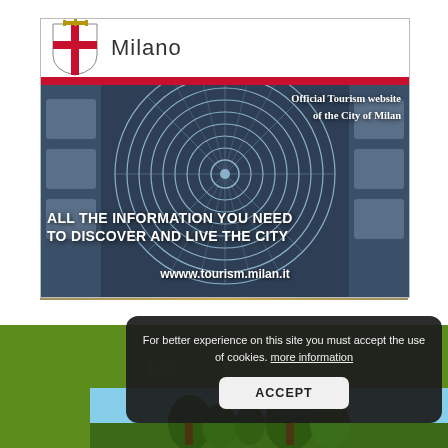[Figure (screenshot): Milano official tourism website advertisement banner showing the Galleria Vittorio Emanuele dome interior with the Milano city logo (coat of arms shield with red cross and crown), text 'Official Tourism website of the City of Milan', headline 'ALL THE INFORMATION YOU NEED TO DISCOVER AND LIVE THE CITY', and URL 'wwww.tourism.milan.it']
For better experience on this site you must accept the use of cookies. more information
ACCEPT